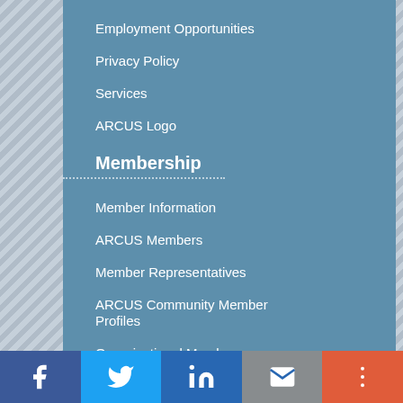Employment Opportunities
Privacy Policy
Services
ARCUS Logo
Membership
Member Information
ARCUS Members
Member Representatives
ARCUS Community Member Profiles
Organizational Member Application
Annual Meetings
Programs
Research Seminar Series
Facebook | Twitter | LinkedIn | Email | More